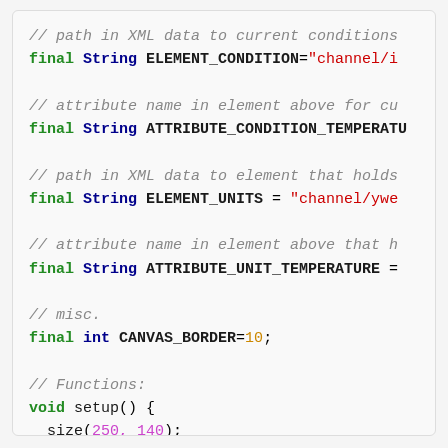// path in XML data to current conditions
final String ELEMENT_CONDITION="channel/i...
// attribute name in element above for cu...
final String ATTRIBUTE_CONDITION_TEMPERATU...
// path in XML data to element that holds...
final String ELEMENT_UNITS = "channel/ywe...
// attribute name in element above that h...
final String ATTRIBUTE_UNIT_TEMPERATURE =...
// misc.
final int CANVAS_BORDER=10;
// Functions:
void setup() {
  size(250, 140);
  smooth();